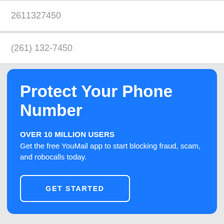2611327450
(261) 132-7450
Protect Your Phone Number
OVER 10 MILLION USERS
Get the free YouMail app to start blocking fraud, scam, and robocalls today.
GET STARTED